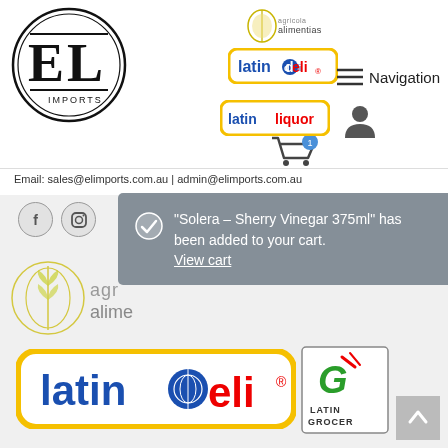[Figure (logo): EL Imports circular logo with letters E and L inside a double circle, text IMPORTS below]
[Figure (logo): Agricola Alimentias logo (small, top center)]
[Figure (logo): Latin Deli logo with yellow border rounded rectangle]
Navigation
[Figure (logo): Latin Liquor logo with yellow border rounded rectangle]
[Figure (logo): User/person icon]
[Figure (other): Shopping cart icon with badge showing 1]
Email: sales@elimports.com.au | admin@elimports.com.au
[Figure (logo): Facebook icon button]
[Figure (logo): Instagram icon button]
“Solera – Sherry Vinegar 375ml” has been added to your cart.
View cart
[Figure (logo): Agricola Alimentias logo large (bottom left area)]
[Figure (logo): Latin Deli large logo with yellow rounded border]
[Figure (logo): Latin Grocer logo with green G icon and text LATIN GROCER in a box]